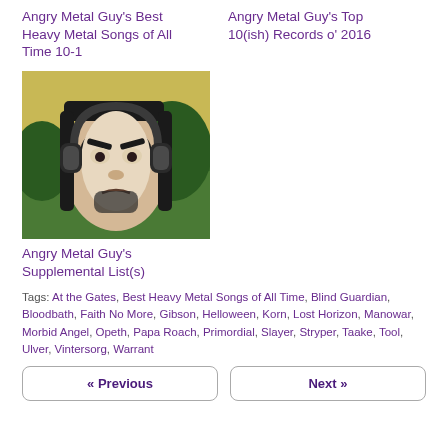Angry Metal Guy's Best Heavy Metal Songs of All Time 10-1
Angry Metal Guy's Top 10(ish) Records o' 2016
[Figure (photo): Photo of a Mona Lisa parody wearing large headphones with an angry metal-styled face]
Angry Metal Guy's Supplemental List(s)
Tags: At the Gates, Best Heavy Metal Songs of All Time, Blind Guardian, Bloodbath, Faith No More, Gibson, Helloween, Korn, Lost Horizon, Manowar, Morbid Angel, Opeth, Papa Roach, Primordial, Slayer, Stryper, Taake, Tool, Ulver, Vintersorg, Warrant
« Previous
Next »